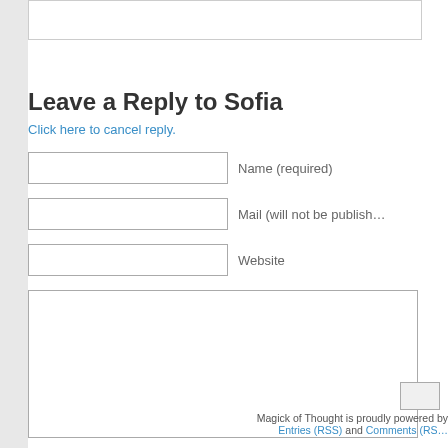Leave a Reply to Sofia
Click here to cancel reply.
Name (required)
Mail (will not be published)
Website
Magick of Thought is proudly powered by
Entries (RSS) and Comments (RSS)